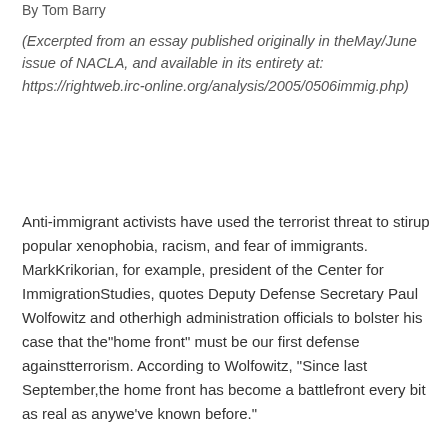By Tom Barry
(Excerpted from an essay published originally in theMay/June issue of NACLA, and available in its entirety at: https://rightweb.irc-online.org/analysis/2005/0506immig.php)
Anti-immigrant activists have used the terrorist threat to stirup popular xenophobia, racism, and fear of immigrants. MarkKrikorian, for example, president of the Center for ImmigrationStudies, quotes Deputy Defense Secretary Paul Wolfowitz and otherhigh administration officials to bolster his case that the"home front" must be our first defense againstterrorism. According to Wolfowitz, "Since last September,the home front has become a battlefront every bit as real as anywe've known before."